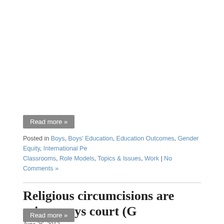Read more »
Posted in Boys, Boys' Education, Education Outcomes, Gender Equity, International Pe..., Classrooms, Role Models, Topics & Issues, Work | No Comments »
Religious circumcisions are crimes says court (G...
June 26, 2012
By Men's Health Australia
[Figure (photo): Image placeholder: Religious circumcisions are crimes says court (Germany)]
Religious circumcisions are bodily harm and thu... week, in what was dubbed a precedent-setting d... "serious and irreversible interference in the inte...
Read more »